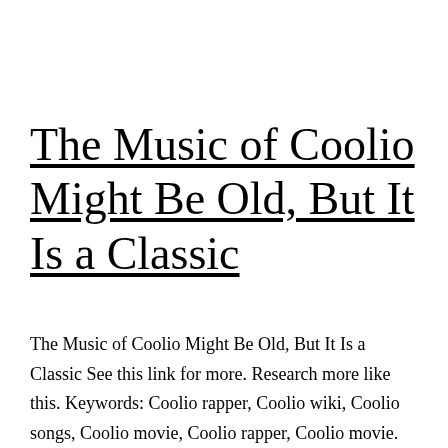The Music of Coolio Might Be Old, But It Is a Classic
The Music of Coolio Might Be Old, But It Is a Classic See this link for more. Research more like this. Keywords: Coolio rapper, Coolio wiki, Coolio songs, Coolio movie, Coolio rapper, Coolio movie.